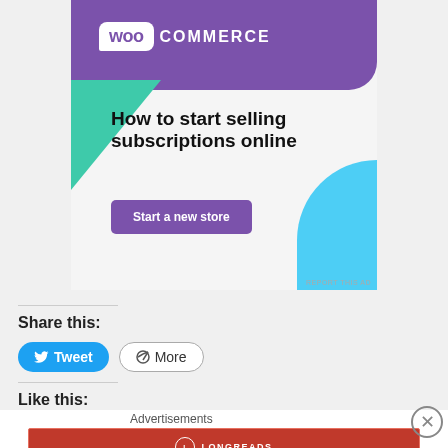[Figure (illustration): WooCommerce advertisement banner with purple header, green triangle shape, blue curve shape, headline 'How to start selling subscriptions online', and a purple 'Start a new store' button]
Share this:
Tweet  More
Like this:
Advertisements
[Figure (illustration): Longreads advertisement bar in red with logo and tagline: The best stories on the web — ours, and everyone else's.]